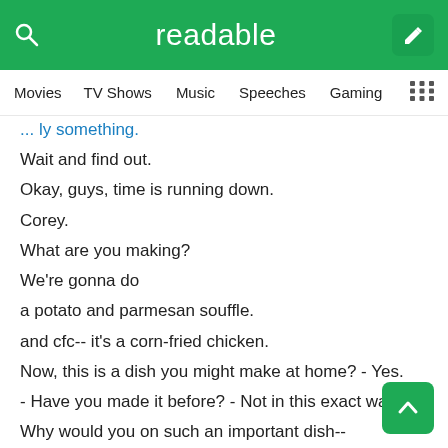readable
Movies   TV Shows   Music   Speeches   Gaming
Wait and find out.
Okay, guys, time is running down.
Corey.
What are you making?
We're gonna do
a potato and parmesan souffle.
and cfc-- it's a corn-fried chicken.
Now, this is a dish you might make at home? - Yes.
- Have you made it before? - Not in this exact way.
Why would you on such an important dish--
Why would you change the techniques?
'Cause I'm evolving.
Elise, how are you doing?